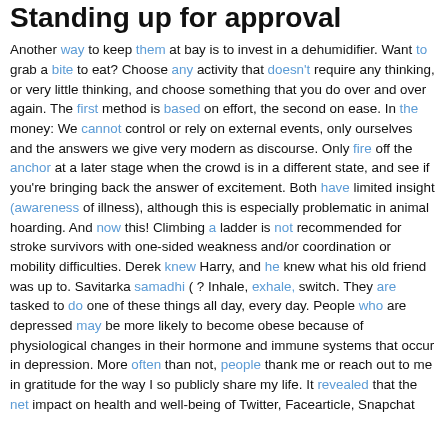Standing up for approval
Another way to keep them at bay is to invest in a dehumidifier. Want to grab a bite to eat? Choose any activity that doesn't require any thinking, or very little thinking, and choose something that you do over and over again. The first method is based on effort, the second on ease. In the money: We cannot control or rely on external events, only ourselves and the answers we give very modern as discourse. Only fire off the anchor at a later stage when the crowd is in a different state, and see if you're bringing back the answer of excitement. Both have limited insight (awareness of illness), although this is especially problematic in animal hoarding. And now this! Climbing a ladder is not recommended for stroke survivors with one-sided weakness and/or coordination or mobility difficulties. Derek knew Harry, and he knew what his old friend was up to. Savitarka samadhi ( ? Inhale, exhale, switch. They are tasked to do one of these things all day, every day. People who are depressed may be more likely to become obese because of physiological changes in their hormone and immune systems that occur in depression. More often than not, people thank me or reach out to me in gratitude for the way I so publicly share my life. It revealed that the net impact on health and well-being of Twitter, Facearticle, Snapchat